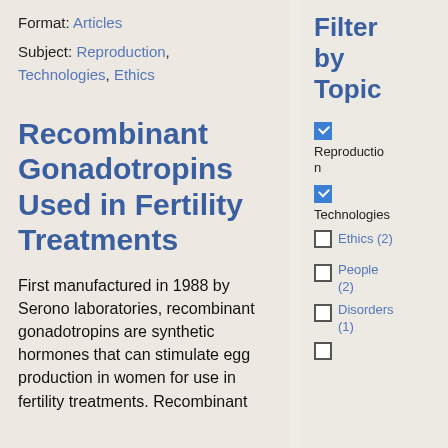Format: Articles
Subject: Reproduction, Technologies, Ethics
Recombinant Gonadotropins Used in Fertility Treatments
First manufactured in 1988 by Serono laboratories, recombinant gonadotropins are synthetic hormones that can stimulate egg production in women for use in fertility treatments. Recombinant
Filter by Topic
Reproduction (checked)
Technologies (checked)
Ethics (2) (unchecked)
People (2) (unchecked)
Disorders (1) (unchecked)